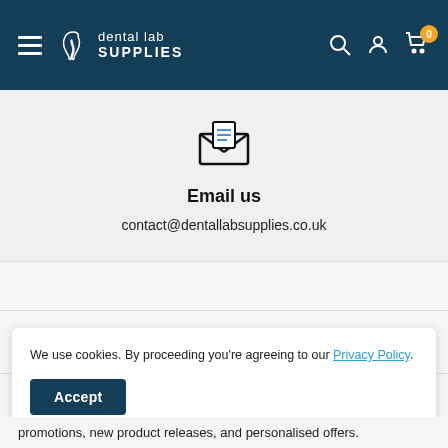dental lab SUPPLIES — navigation header with hamburger menu, logo, search, account, cart (0)
Email us
contact@dentallabsupplies.co.uk
ABOUT THE SHOP +
SHOPPING +
We use cookies. By proceeding you're agreeing to our Privacy Policy.
Accept
promotions, new product releases, and personalised offers.